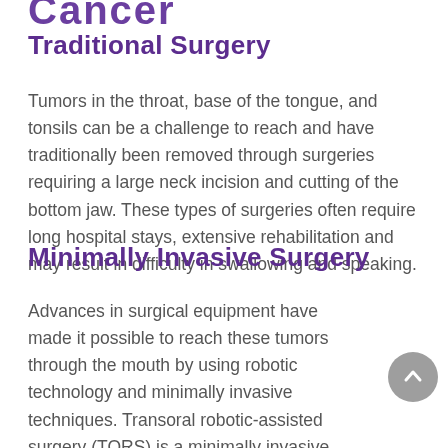Cancer
Traditional Surgery
Tumors in the throat, base of the tongue, and tonsils can be a challenge to reach and have traditionally been removed through surgeries requiring a large neck incision and cutting of the bottom jaw. These types of surgeries often require long hospital stays, extensive rehabilitation and may result in difficulty in swallowing and speaking.
Minimally Invasive Surgery
Advances in surgical equipment have made it possible to reach these tumors through the mouth by using robotic technology and minimally invasive techniques. Transoral robotic-assisted surgery (TORS) is a minimally invasive option to open surgery using the da Vinci robotic-assisted surgical system.